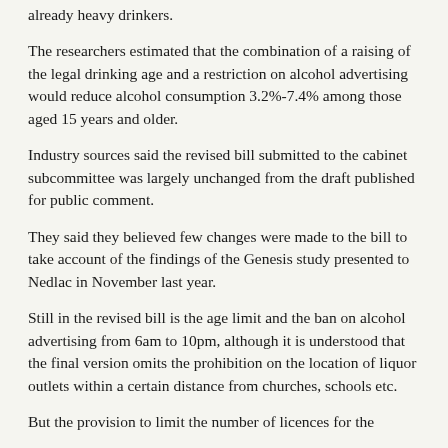already heavy drinkers.
The researchers estimated that the combination of a raising of the legal drinking age and a restriction on alcohol advertising would reduce alcohol consumption 3.2%-7.4% among those aged 15 years and older.
Industry sources said the revised bill submitted to the cabinet subcommittee was largely unchanged from the draft published for public comment.
They said they believed few changes were made to the bill to take account of the findings of the Genesis study presented to Nedlac in November last year.
Still in the revised bill is the age limit and the ban on alcohol advertising from 6am to 10pm, although it is understood that the final version omits the prohibition on the location of liquor outlets within a certain distance from churches, schools etc.
But the provision to limit the number of licences for the